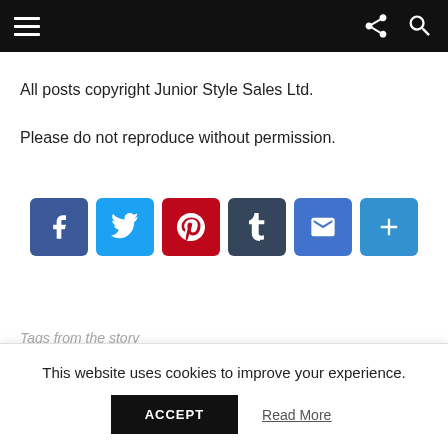Navigation bar with hamburger menu and share/search icons
All posts copyright Junior Style Sales Ltd.

Please do not reproduce without permission.
[Figure (infographic): Row of social share icon buttons: Facebook, Twitter, Pinterest, Tumblr, Email, Share]
Tags from the story
Anelia Alaudin, Bobo Choses, Fish & Kids, Hundred Pieces, Little Man
This website uses cookies to improve your experience.
ACCEPT   Read More